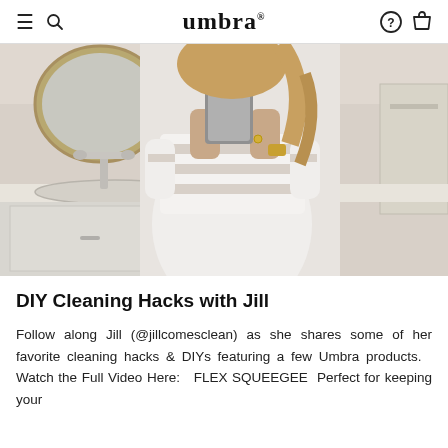umbra®
[Figure (photo): Woman in a white striped dress holding a phone/cleaning tool in a bathroom, with a sink, faucet, and mirror visible in the background.]
DIY Cleaning Hacks with Jill
Follow along Jill (@jillcomesclean) as she shares some of her favorite cleaning hacks & DIYs featuring a few Umbra products.  Watch the Full Video Here:  FLEX SQUEEGEE  Perfect for keeping your